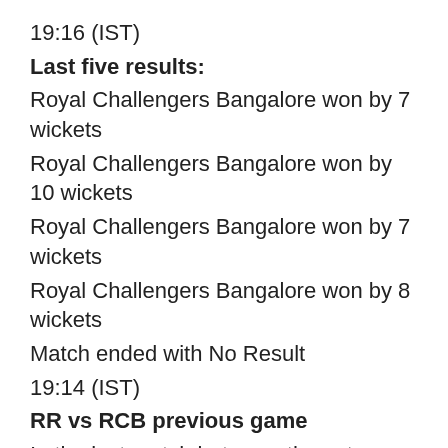19:16 (IST)
Last five results:
Royal Challengers Bangalore won by 7 wickets
Royal Challengers Bangalore won by 10 wickets
Royal Challengers Bangalore won by 7 wickets
Royal Challengers Bangalore won by 8 wickets
Match ended with No Result
19:14 (IST)
RR vs RCB previous game
In the last match between these two sides
Royal Challengers Bangalore beat Rajasthan